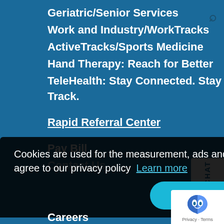Geriatric/Senior Services
Work and Industry/WorkTracks
ActiveTracks/Sports Medicine
Hand Therapy: Reach for Better
TeleHealth: Stay Connected. Stay on Track.
Rapid Referral Center
Pay Bill
Contact Us
Physicians
TeleHealth: Stay Connected. Stay on Track.
Patients
Find Locations
Careers
Cookies are used for the measurement, ads and optimization. By continuing to use our site you agree to our privacy policy  Learn more
Got it!